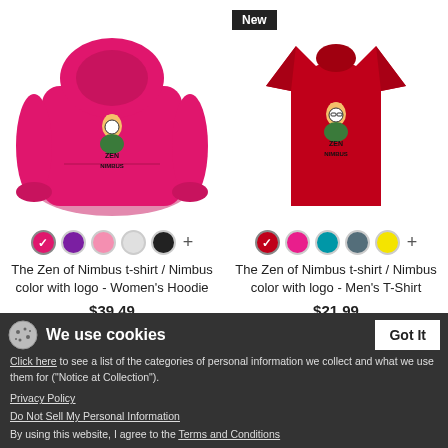[Figure (photo): Pink women's hoodie with 'The Zen of Nimbus' logo featuring a meditating rabbit character]
[Figure (photo): Red men's t-shirt with 'The Zen of Nimbus' logo featuring a meditating rabbit character, with 'New' badge]
The Zen of Nimbus t-shirt / Nimbus color with logo - Women's Hoodie
The Zen of Nimbus t-shirt / Nimbus color with logo - Men's T-Shirt
$39.49
$21.99
We use cookies
Click here to see a list of the categories of personal information we collect and what we use them for ("Notice at Collection").
Privacy Policy
Do Not Sell My Personal Information
By using this website, I agree to the Terms and Conditions